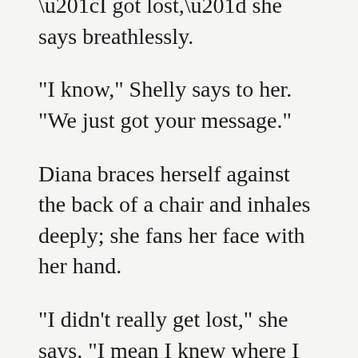“I got lost,” she says breathlessly.
“I know,” Shelly says to her. “We just got your message.”
Diana braces herself against the back of a chair and inhales deeply; she fans her face with her hand.
“I didn’t really get lost,” she says. “I mean I knew where I was, I was just at the wrong place.”
She throws her things down and takes a seat.
“Would you like a cocktail, Miss Ross?”